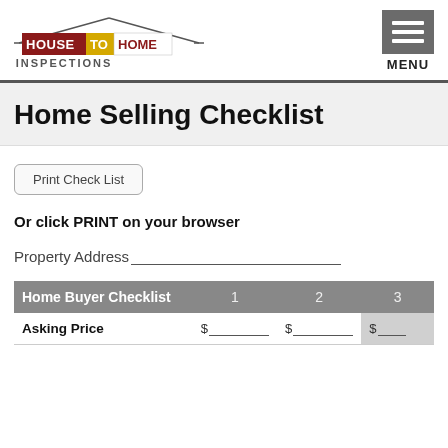House To Home Inspections | MENU
Home Selling Checklist
Print Check List
Or click PRINT on your browser
Property Address___________________________
| Home Buyer Checklist | 1 | 2 | 3 |
| --- | --- | --- | --- |
| Asking Price | $________ | $________ | $__ |